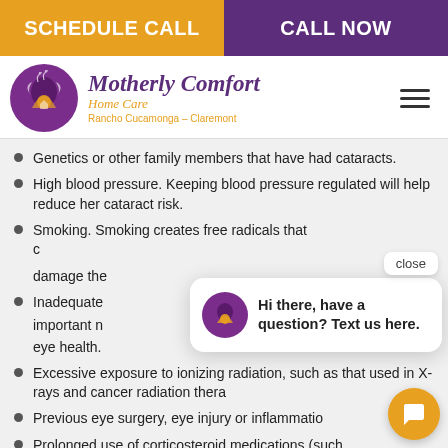SCHEDULE CALL | CALL NOW
[Figure (logo): Motherly Comfort Home Care logo — purple circle icon with stylized figure, script text 'Motherly Comfort Home Care', subtitle 'Rancho Cucamonga – Claremont']
Genetics or other family members that have had cataracts.
High blood pressure. Keeping blood pressure regulated will help reduce her cataract risk.
Smoking. Smoking creates free radicals that can damage the eyes.
Inadequate nutrition. Nutrition plays an important role in maintaining good eye health.
Excessive exposure to ionizing radiation, such as that used in X-rays and cancer radiation therapy.
Previous eye surgery, eye injury or inflammation.
Prolonged use of corticosteroid medications (such